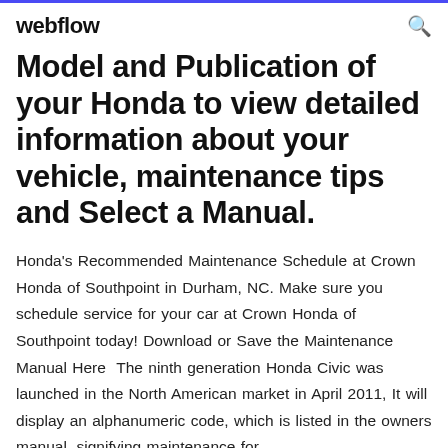webflow
Model and Publication of your Honda to view detailed information about your vehicle, maintenance tips and Select a Manual.
Honda's Recommended Maintenance Schedule at Crown Honda of Southpoint in Durham, NC. Make sure you schedule service for your car at Crown Honda of Southpoint today! Download or Save the Maintenance Manual Here  The ninth generation Honda Civic was launched in the North American market in April 2011, It will display an alphanumeric code, which is listed in the owners manual, signifying maintenance for